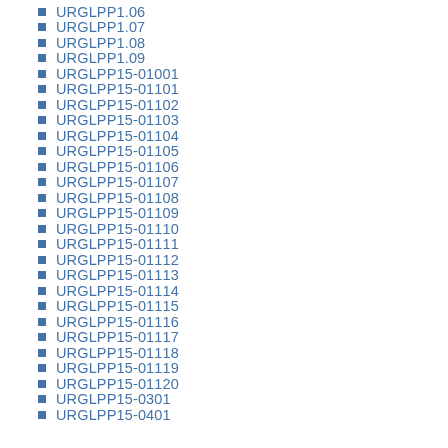URGLPP1.06
URGLPP1.07
URGLPP1.08
URGLPP1.09
URGLPP15-01001
URGLPP15-01101
URGLPP15-01102
URGLPP15-01103
URGLPP15-01104
URGLPP15-01105
URGLPP15-01106
URGLPP15-01107
URGLPP15-01108
URGLPP15-01109
URGLPP15-01110
URGLPP15-01111
URGLPP15-01112
URGLPP15-01113
URGLPP15-01114
URGLPP15-01115
URGLPP15-01116
URGLPP15-01117
URGLPP15-01118
URGLPP15-01119
URGLPP15-01120
URGLPP15-0301
URGLPP15-0401